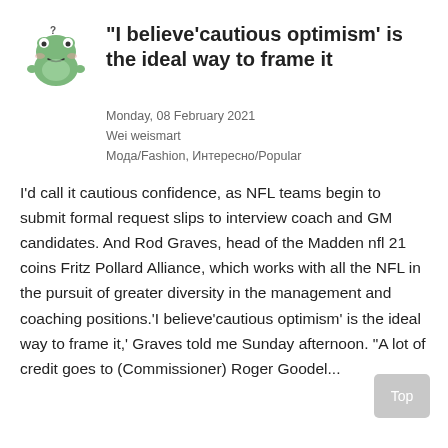"I believe'cautious optimism' is the ideal way to frame it
Monday, 08 February 2021
Wei weismart
Мода/Fashion, Интересно/Popular
I'd call it cautious confidence, as NFL teams begin to submit formal request slips to interview coach and GM candidates. And Rod Graves, head of the Madden nfl 21 coins Fritz Pollard Alliance, which works with all the NFL in the pursuit of greater diversity in the management and coaching positions.'I believe'cautious optimism' is the ideal way to frame it,' Graves told me Sunday afternoon. "A lot of credit goes to (Commissioner) Roger Goodel...